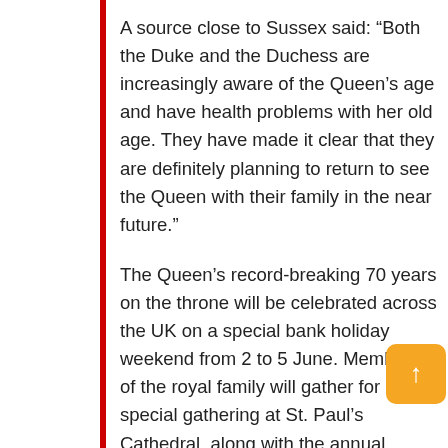A source close to Sussex said: “Both the Duke and the Duchess are increasingly aware of the Queen’s age and have health problems with her old age. They have made it clear that they are definitely planning to return to see the Queen with their family in the near future.”
The Queen’s record-breaking 70 years on the throne will be celebrated across the UK on a special bank holiday weekend from 2 to 5 June. Members of the royal family will gather for a special gathering at St. Paul’s Cathedral, along with the annual Trooping the Color. The Queen also hopes to attend the Epsom Derby, and members of the royal family will attend a sp music concert for the 10,000 lucky ticket holders outside Buckingham Palace. Our source said: “It is